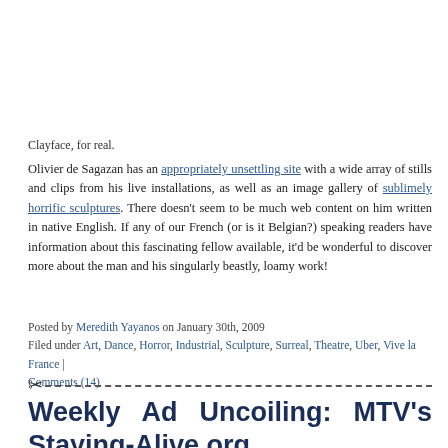Clayface, for real.
Olivier de Sagazan has an appropriately unsettling site with a wide array of stills and clips from his live installations, as well as an image gallery of sublimely horrific sculptures. There doesn't seem to be much web content on him written in native English. If any of our French (or is it Belgian?) speaking readers have information about this fascinating fellow available, it'd be wonderful to discover more about the man and his singularly beastly, loamy work!
Posted by Meredith Yayanos on January 30th, 2009
Filed under Art, Dance, Horror, Industrial, Sculpture, Surreal, Theatre, Uber, Vive la France | Comments (14)
Weekly Ad Uncoiling: MTV's Staying-Alive.org